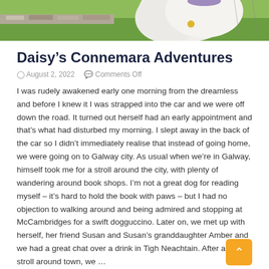[Figure (photo): Photo of a white fluffy dog or goat with a bell, standing near a stone wall with green grass in background. Only the lower portion of the animal and landscape is visible.]
Daisy’s Connemara Adventures
August 2, 2022   Comments Off
I was rudely awakened early one morning from the dreamless and before I knew it I was strapped into the car and we were off down the road. It turned out herself had an early appointment and that’s what had disturbed my morning. I slept away in the back of the car so I didn’t immediately realise that instead of going home, we were going on to Galway city. As usual when we’re in Galway, himself took me for a stroll around the city, with plenty of wandering around book shops. I’m not a great dog for reading myself – it’s hard to hold the book with paws – but I had no objection to walking around and being admired and stopping at McCambridges for a swift dogguccino. Later on, we met up with herself, her friend Susan and Susan’s granddaughter Amber and we had a great chat over a drink in Tigh Neachtain. After another stroll around town, we …
Read More »